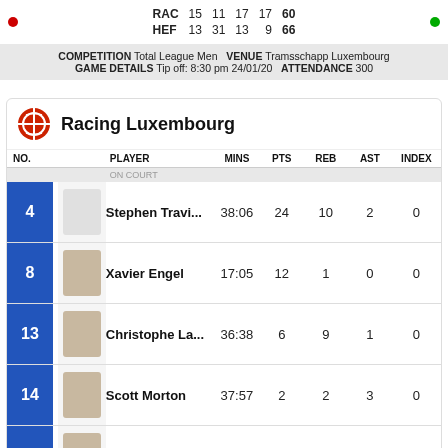|  | Q1 | Q2 | Q3 | Q4 | Total |
| --- | --- | --- | --- | --- | --- |
| RAC | 15 | 11 | 17 | 17 | 60 |
| HEF | 13 | 31 | 13 | 9 | 66 |
COMPETITION Total League Men  VENUE Tramsschapp Luxembourg  GAME DETAILS Tip off: 8:30 pm 24/01/20  ATTENDANCE 300
Racing Luxembourg
| NO. | PLAYER | MINS | PTS | REB | AST | INDEX |
| --- | --- | --- | --- | --- | --- | --- |
| 4 | Stephen Travi... | 38:06 | 24 | 10 | 2 | 0 |
| 8 | Xavier Engel | 17:05 | 12 | 1 | 0 | 0 |
| 13 | Christophe La... | 36:38 | 6 | 9 | 1 | 0 |
| 14 | Scott Morton | 37:57 | 2 | 2 | 3 | 0 |
| 15 | Thierry Abdiu | 2:11 | 0 | 0 | 0 | 0 |
US Heffingen